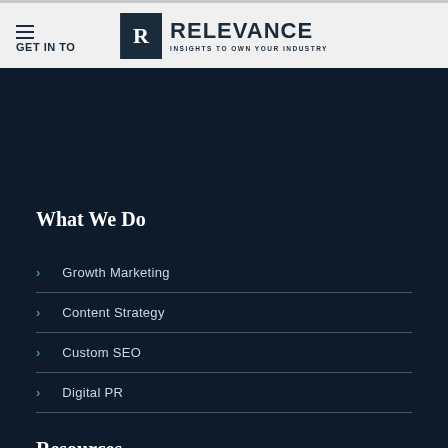RELEVANCE | INSIGHTS TO OWN YOUR INDUSTRY
GET IN TOUCH
What We Do
Growth Marketing
Content Strategy
Custom SEO
Digital PR
Resources